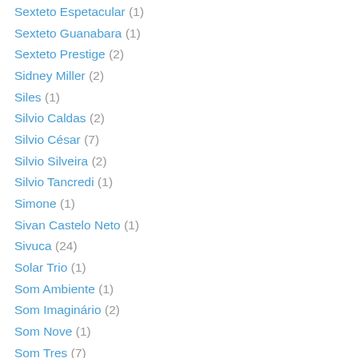Sexteto Espetacular (1)
Sexteto Guanabara (1)
Sexteto Prestige (2)
Sidney Miller (2)
Siles (1)
Silvio Caldas (2)
Silvio César (7)
Silvio Silveira (2)
Silvio Tancredi (1)
Simone (1)
Sivan Castelo Neto (1)
Sivuca (24)
Solar Trio (1)
Som Ambiente (1)
Som Imaginário (2)
Som Nove (1)
Som Tres (7)
Sonia Delfino (1)
Sonia La Unica (1)